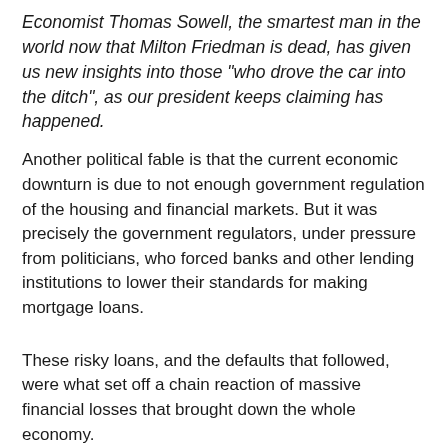Economist Thomas Sowell, the smartest man in the world now that Milton Friedman is dead, has given us new insights into those "who drove the car into the ditch", as our president keeps claiming has happened.
Another political fable is that the current economic downturn is due to not enough government regulation of the housing and financial markets. But it was precisely the government regulators, under pressure from politicians, who forced banks and other lending institutions to lower their standards for making mortgage loans.
These risky loans, and the defaults that followed, were what set off a chain reaction of massive financial losses that brought down the whole economy.
So it doesn't matter who was driving the car when it inevitably went into the ditch?  Perhaps we should question those who dug the damn ditch that was running across the middle of the interstate?  Give us more, O Saint Thomas, give us more....